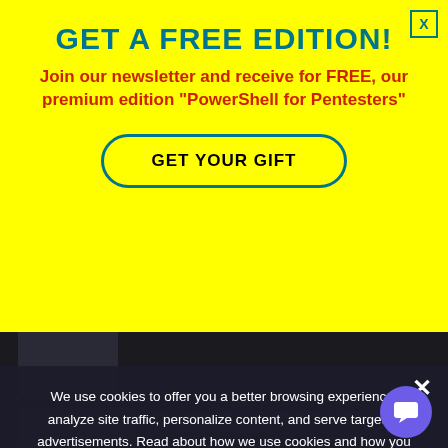GET A FREE EDITION!
Join our newsletter and receive for FREE, our premium edition “PowerShell for Pentesters”
GET YOUR GIFT
We use cookies to offer you a better browsing experience, analyze site traffic, personalize content, and serve targeted advertisements. Read about how we use cookies and how you can control them by clicking "Privacy Preferences". If you continue to use this site, you consent to our use of cookies.
Privacy Preferences
I Agree
How I Hacked into a Corporate Network Using Your Own Anti-Virus Agent